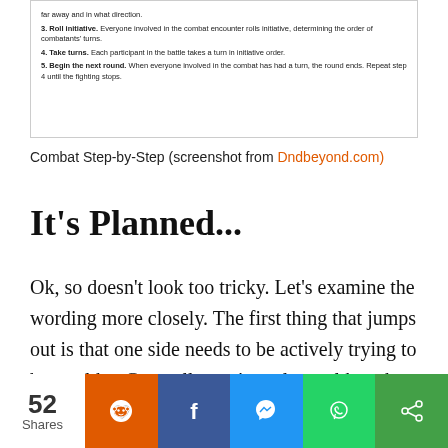[Figure (screenshot): Screenshot from Dndbeyond.com showing Combat Step-by-Step rules including numbered steps 3-5 about rolling initiative, taking turns, and beginning the next round.]
Combat Step-by-Step (screenshot from Dndbeyond.com)
It's Planned...
Ok, so doesn't look too tricky. Let's examine the wording more closely. The first thing that jumps out is that one side needs to be actively trying to be stealthy. Generally you're only stealthy when you know an enemy's whereabouts, and when they don't know yours. So we can extrapolate that surprise is something that happens during a planned raid or ambush.
52 Shares [Reddit] [Facebook] [Messenger] [WhatsApp] [Share]